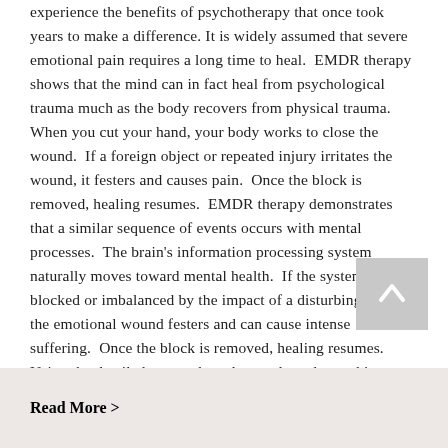experience the benefits of psychotherapy that once took years to make a difference. It is widely assumed that severe emotional pain requires a long time to heal.  EMDR therapy shows that the mind can in fact heal from psychological trauma much as the body recovers from physical trauma.  When you cut your hand, your body works to close the wound.  If a foreign object or repeated injury irritates the wound, it festers and causes pain.  Once the block is removed, healing resumes.  EMDR therapy demonstrates that a similar sequence of events occurs with mental processes.  The brain's information processing system naturally moves toward mental health.  If the system is blocked or imbalanced by the impact of a disturbing event, the emotional wound festers and can cause intense suffering.  Once the block is removed, healing resumes.  Using the detailed protocols and procedures learned in EMDR therapy training sessions, clinicians help clients activate their natural healing processes.
Read More >